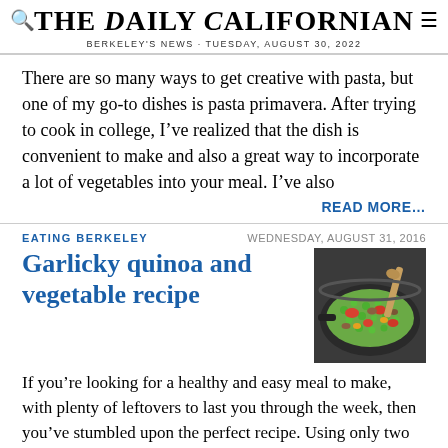THE DAILY CALIFORNIAN · BERKELEY'S NEWS · TUESDAY, AUGUST 30, 2022
There are so many ways to get creative with pasta, but one of my go-to dishes is pasta primavera. After trying to cook in college, I've realized that the dish is convenient to make and also a great way to incorporate a lot of vegetables into your meal. I've also
READ MORE…
EATING BERKELEY
WEDNESDAY, AUGUST 31, 2016
Garlicky quinoa and vegetable recipe
[Figure (photo): A pan of colorful cooked quinoa with vegetables including peas, tomatoes, and mushrooms, with a wooden spoon]
If you're looking for a healthy and easy meal to make, with plenty of leftovers to last you through the week, then you've stumbled upon the perfect recipe. Using only two pots and a lot of veggies, this meal is the perfect go-to dinner or lunch.